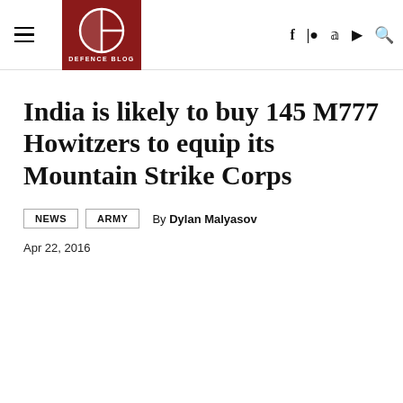Defence Blog
India is likely to buy 145 M777 Howitzers to equip its Mountain Strike Corps
By Dylan Malyasov
Apr 22, 2016